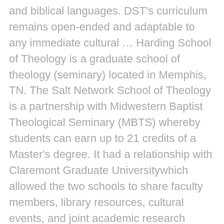and biblical languages. DST's curriculum remains open-ended and adaptable to any immediate cultural … Harding School of Theology is a graduate school of theology (seminary) located in Memphis, TN. The Salt Network School of Theology is a partnership with Midwestern Baptist Theological Seminary (MBTS) whereby students can earn up to 21 credits of a Master's degree. It had a relationship with Claremont Graduate Universitywhich allowed the two schools to share faculty members, library resources, cultural events, and joint academic research endeavors. In all our academic programmes, our formation of leaders, and our training of preachers, we want to see our students delighting in God and captured by the glory of Christ. Claremont School of Theology (CST) is a graduate school located in Claremont, California, offering Master of Arts, Master of Divinity, Doctor of Ministry, and Doctor of Philosophy degrees in religion and theology. Learn More. In July 2017, after failing to reach agreement with Claremont Graduate University about a land deal, CST began